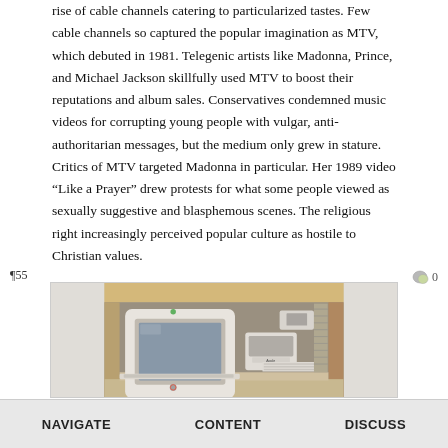rise of cable channels catering to particularized tastes. Few cable channels so captured the popular imagination as MTV, which debuted in 1981. Telegenic artists like Madonna, Prince, and Michael Jackson skillfully used MTV to boost their reputations and album sales. Conservatives condemned music videos for corrupting young people with vulgar, anti-authoritarian messages, but the medium only grew in stature. Critics of MTV targeted Madonna in particular. Her 1989 video “Like a Prayer” drew protests for what some people viewed as sexually suggestive and blasphemous scenes. The religious right increasingly perceived popular culture as hostile to Christian values.
[Figure (photo): Photograph of vintage Apple Macintosh computer and related hardware stored on shelves, showing the monitor with Apple logo and keyboard/accessories.]
NAVIGATE   CONTENT   DISCUSS